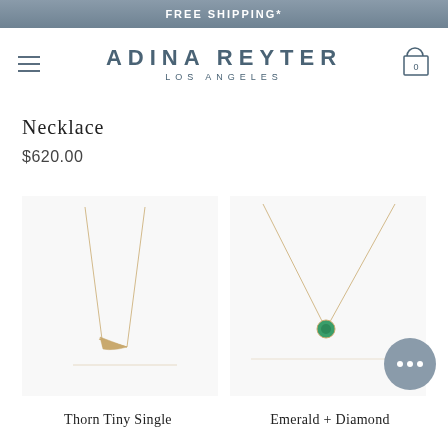FREE SHIPPING*
ADINA REYTER
LOS ANGELES
Necklace
$620.00
[Figure (photo): Gold thorn/arrow tiny single necklace on white background]
[Figure (photo): Emerald and diamond bezel necklace with green stone on white background]
Thorn Tiny Single
Emerald + Diamond